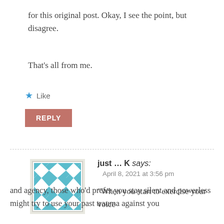for this original post. Okay, I see the point, but disagree.
That's all from me.
Like
REPLY
just ... K says:
April 8, 2021 at 3:56 pm
“When you start to exercise your voice and agency, those who’d prefer you stay silent and powerless might try to use your past trauma against you